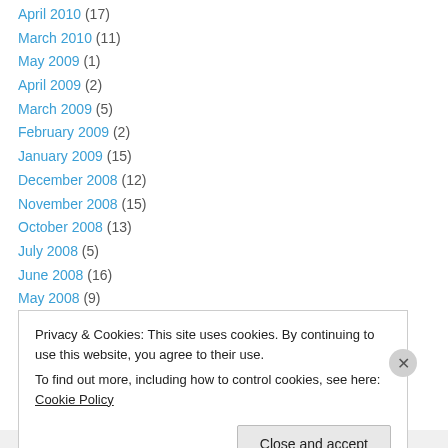April 2010 (17)
March 2010 (11)
May 2009 (1)
April 2009 (2)
March 2009 (5)
February 2009 (2)
January 2009 (15)
December 2008 (12)
November 2008 (15)
October 2008 (13)
July 2008 (5)
June 2008 (16)
May 2008 (9)
Privacy & Cookies: This site uses cookies. By continuing to use this website, you agree to their use. To find out more, including how to control cookies, see here: Cookie Policy
Close and accept